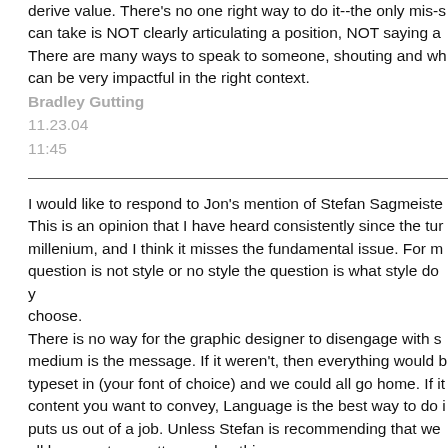derive value. There's no one right way to do it--the only mis-s can take is NOT clearly articulating a position, NOT saying a There are many ways to speak to someone, shouting and wh can be very impactful in the right context.
Bradley Gutting
11.23.04
11:45
I would like to respond to Jon's mention of Stefan Sagmeiste This is an opinion that I have heard consistently since the tur millenium, and I think it misses the fundamental issue. For m question is not style or no style the question is what style do y choose.
There is no way for the graphic designer to disengage with s medium is the message. If it weren't, then everything would b typeset in (your font of choice) and we could all go home. If it content you want to convey, Language is the best way to do i puts us out of a job. Unless Stefan is recommending that we all become type setters and nothing more.
What we really need to focus on is how the visual language w communicating, and forget weather it has style or not. That a